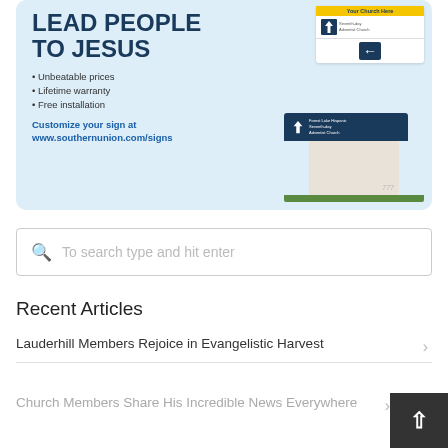[Figure (illustration): Advertisement banner with light blue background. Text reads 'LEAD PEOPLE TO JESUS' with bullet points: Unbeatable prices, Lifetime warranty, Free installation. Link: Customize your sign at www.southernunion.com/signs. Shows church sign graphics.]
To search type and hit enter
Recent Articles
Lauderhill Members Rejoice in Evangelistic Harvest
Church Members Share His Incredible News Everywhere